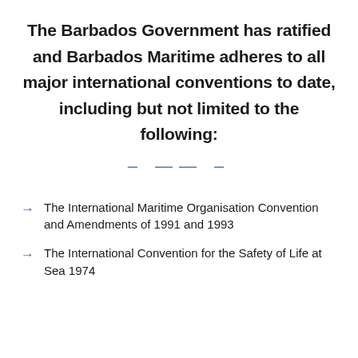The Barbados Government has ratified and Barbados Maritime adheres to all major international conventions to date, including but not limited to the following:
The International Maritime Organisation Convention and Amendments of 1991 and 1993
The International Convention for the Safety of Life at Sea 1974